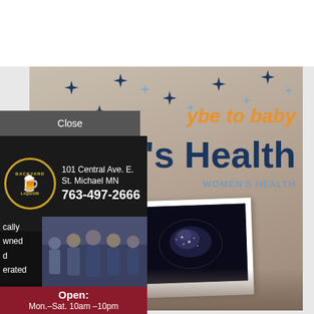[Figure (photo): Background Women's Health advertisement with 'maybe to baby' tagline, ultrasound photo held by hands, decorative stars, and WOMEN'S HEALTH text]
Close
[Figure (photo): Backyard Liquor advertisement with logo, address (101 Central Ave. E., St. Michael MN), phone (763-497-2666), group photo of staff, hours, website and Facebook info]
101 Central Ave. E.
St. Michael MN
763-497-2666
cally
ownd
d
erated
Open:
Mon.–Sat. 10am –10pm
Sunday 11am – 6pm
ackyardliquor.com
Follow us on Facebook